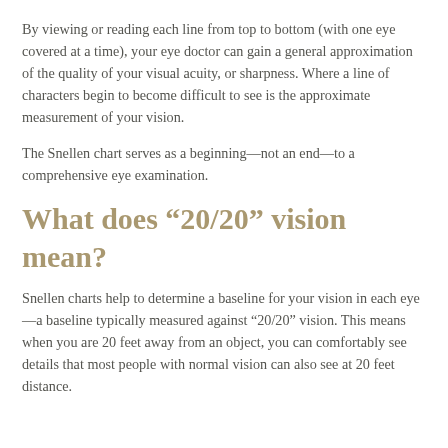By viewing or reading each line from top to bottom (with one eye covered at a time), your eye doctor can gain a general approximation of the quality of your visual acuity, or sharpness. Where a line of characters begin to become difficult to see is the approximate measurement of your vision.
The Snellen chart serves as a beginning—not an end—to a comprehensive eye examination.
What does “20/20” vision mean?
Snellen charts help to determine a baseline for your vision in each eye—a baseline typically measured against “20/20” vision. This means when you are 20 feet away from an object, you can comfortably see details that most people with normal vision can also see at 20 feet distance.